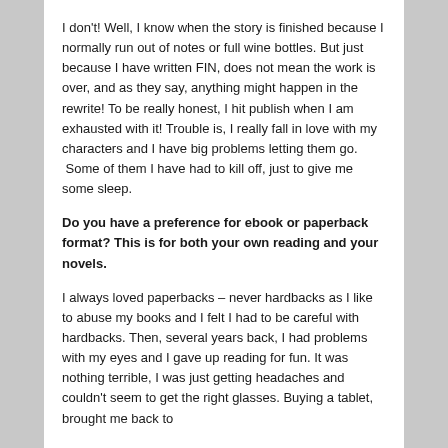I don't!  Well, I know when the story is finished because I normally run out of notes or full wine bottles.  But just because I have written FIN, does not mean the work is over, and as they say, anything might happen in the rewrite! To be really honest, I hit publish when I am exhausted with it!  Trouble is, I really fall in love with my characters and I have big problems letting them go.  Some of them I have had to kill off, just to give me some sleep.
Do you have a preference for ebook or paperback format? This is for both your own reading and your novels.
I always loved paperbacks – never hardbacks as I like to abuse my books and I felt I had to be careful with hardbacks.  Then, several years back, I had problems with my eyes and I gave up reading for fun.  It was nothing terrible, I was just getting headaches and couldn't seem to get the right glasses.  Buying a tablet, brought me back to